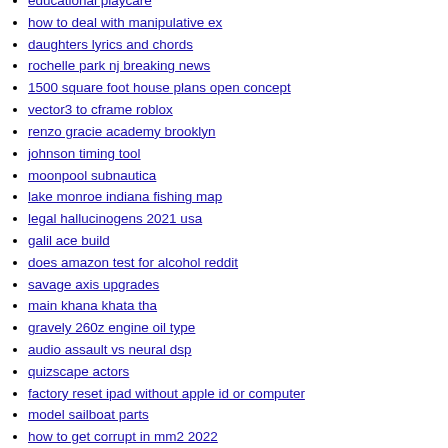educational playcare
how to deal with manipulative ex
daughters lyrics and chords
rochelle park nj breaking news
1500 square foot house plans open concept
vector3 to cframe roblox
renzo gracie academy brooklyn
johnson timing tool
moonpool subnautica
lake monroe indiana fishing map
legal hallucinogens 2021 usa
galil ace build
does amazon test for alcohol reddit
savage axis upgrades
main khana khata tha
gravely 260z engine oil type
audio assault vs neural dsp
quizscape actors
factory reset ipad without apple id or computer
model sailboat parts
how to get corrupt in mm2 2022
free vintage teen porn movies
zurich zr13 pc software
bruno and mirabel relationship
fbi declassified documents pdf